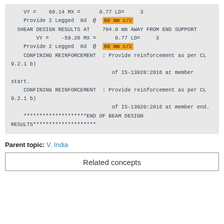VY =    60.14 MX =      0.77 LD=     3
    Provide 2 Legged  8d  @  60 mm c/c
    SHEAR DESIGN RESULTS AT    704.0 mm AWAY FROM END SUPPORT
        VY =    -59.26 MX =      0.77 LD=     3
    Provide 2 Legged  8d  @  60 mm c/c
    CONFINING REINFORCEMENT  : Provide reinforcement as per CL 9.2.1 b)
                                    of IS-13920:2016 at member start.
    CONFINING REINFORCEMENT  : Provide reinforcement as per CL 9.2.1 b)
                                    of IS-13920:2016 at member end.
    ********************END OF BEAM DESIGN RESULTS********************
Parent topic: V. India
Related concepts